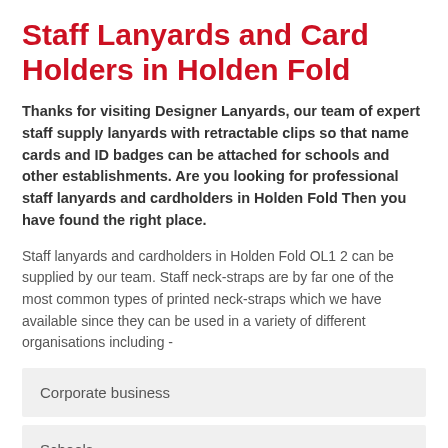Staff Lanyards and Card Holders in Holden Fold
Thanks for visiting Designer Lanyards, our team of expert staff supply lanyards with retractable clips so that name cards and ID badges can be attached for schools and other establishments. Are you looking for professional staff lanyards and cardholders in Holden Fold Then you have found the right place.
Staff lanyards and cardholders in Holden Fold OL1 2 can be supplied by our team. Staff neck-straps are by far one of the most common types of printed neck-straps which we have available since they can be used in a variety of different organisations including -
Corporate business
Schools